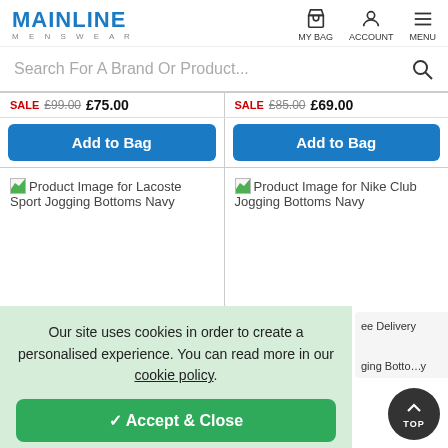MAINLINE MENSWEAR — MY BAG, ACCOUNT, MENU navigation header
Search For A Brand Or Product...
SALE £99.00 £75.00 | SALE £85.00 £69.00
Add to Bag | Add to Bag
[Figure (screenshot): Product image placeholder for Lacoste Sport Jogging Bottoms Navy]
[Figure (screenshot): Product image placeholder for Nike Club Jogging Bottoms Navy]
Our site uses cookies in order to create a personalised experience. You can read more in our cookie policy.
✓ Accept & Close
ee Delivery
ging Botto y